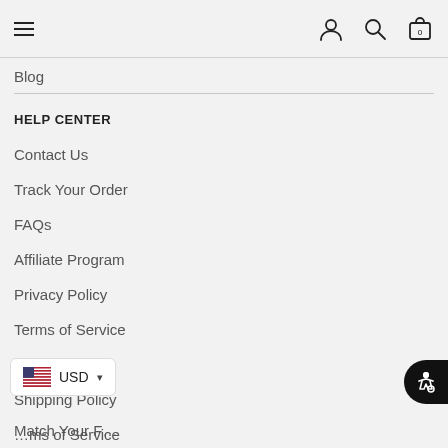≡ [hamburger menu] [user icon] [search icon] [cart 0]
Blog
HELP CENTER
Contact Us
Track Your Order
FAQs
Affiliate Program
Privacy Policy
Terms of Service
Refund Policy
Shipping Policy
USD [dropdown] ...ms of Service
Match Your F...